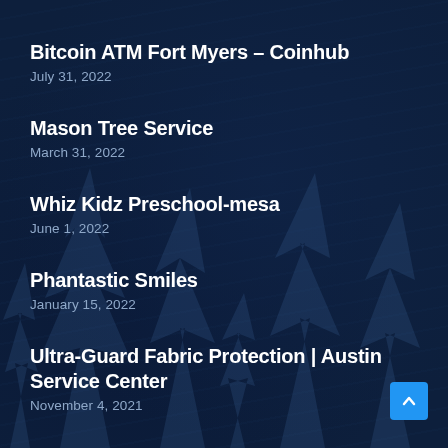Bitcoin ATM Fort Myers – Coinhub
July 31, 2022
Mason Tree Service
March 31, 2022
Whiz Kidz Preschool-mesa
June 1, 2022
Phantastic Smiles
January 15, 2022
Ultra-Guard Fabric Protection | Austin Service Center
November 4, 2021